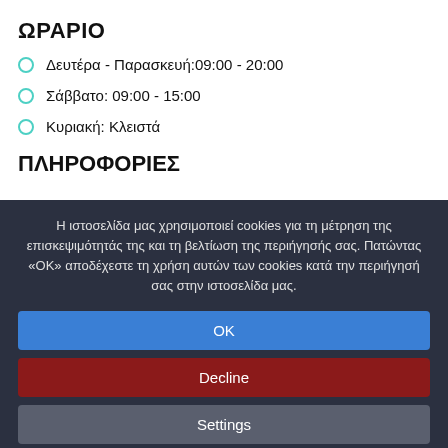ΩΡΑΡΙΟ
Δευτέρα - Παρασκευή: 09:00 - 20:00
Σάββατο: 09:00 - 15:00
Κυριακή: Κλειστά
ΠΛΗΡΟΦΟΡΙΕΣ
Η ιστοσελίδα μας χρησιμοποιεί cookies για τη μέτρηση της επισκεψιμότητάς της και τη βελτίωση της περιήγησής σας. Πατώντας «ΟΚ» αποδέχεστε τη χρήση αυτών των cookies κατά την περιήγησή σας στην ιστοσελίδα μας.
OK
Decline
Settings
Διαβάστε περισσότερα